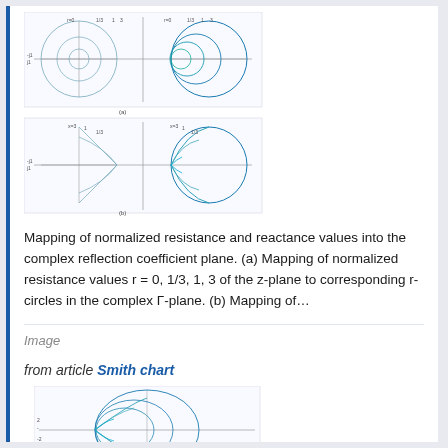[Figure (engineering-diagram): Two Smith chart diagrams showing mapping of normalized resistance and reactance circles in the complex reflection coefficient plane. Top diagram shows r-circles (resistance), bottom shows x-circles (reactance).]
Mapping of normalized resistance and reactance values into the complex reflection coefficient plane. (a) Mapping of normalized resistance values r = 0, 1/3, 1, 3 of the z-plane to corresponding r-circles in the complex Γ-plane. (b) Mapping of…
Image
from article Smith chart
[Figure (engineering-diagram): Smith chart showing overlay of resistance and reactance circles in the complex Γ-plane.]
The Smith chart is simply an overlay of resistance and reactance circles in the complex Γ-plane.